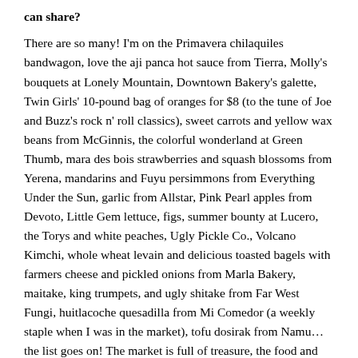can share?
There are so many! I'm on the Primavera chilaquiles bandwagon, love the aji panca hot sauce from Tierra, Molly's bouquets at Lonely Mountain, Downtown Bakery's galette, Twin Girls' 10-pound bag of oranges for $8 (to the tune of Joe and Buzz's rock n' roll classics), sweet carrots and yellow wax beans from McGinnis, the colorful wonderland at Green Thumb, mara des bois strawberries and squash blossoms from Yerena, mandarins and Fuyu persimmons from Everything Under the Sun, garlic from Allstar, Pink Pearl apples from Devoto, Little Gem lettuce, figs, summer bounty at Lucero, the Torys and white peaches, Ugly Pickle Co., Volcano Kimchi, whole wheat levain and delicious toasted bagels with farmers cheese and pickled onions from Marla Bakery, maitake, king trumpets, and ugly shitake from Far West Fungi, huitlacoche quesadilla from Mi Comedor (a weekly staple when I was in the market), tofu dosirak from Namu…the list goes on! The market is full of treasure, the food and the people.
Is there anything else you would like our shoppers and market community to know?